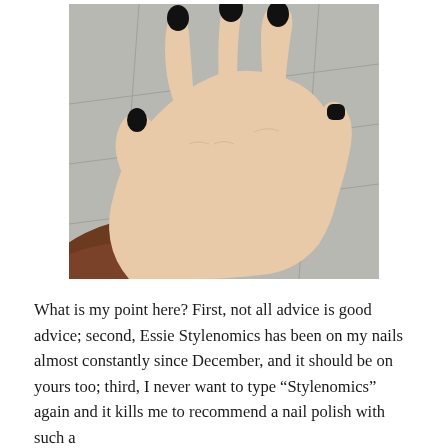[Figure (photo): A close-up photograph of a person's hand with black nail polish on all five nails, outstretched palm-side down against a grey tiled background. The person is wearing a brown sleeve.]
What is my point here? First, not all advice is good advice; second, Essie Stylenomics has been on my nails almost constantly since December, and it should be on yours too; third, I never want to type “Stylenomics” again and it kills me to recommend a nail polish with such a